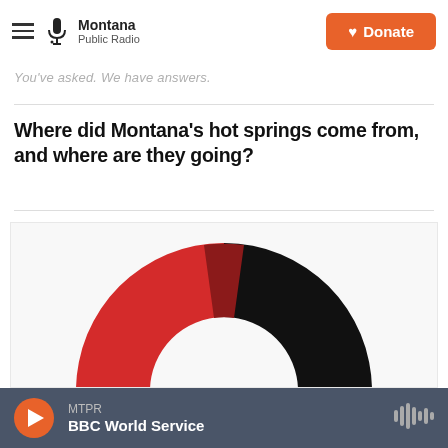Montana Public Radio — Donate
You've asked. We have answers.
Where did Montana's hot springs come from, and where are they going?
[Figure (donut-chart): Partially visible donut chart with segments in red/crimson (upper-left, large), dark red (upper-center), black (upper-right, large), and dark gray (right), cut off at bottom of frame.]
MTPR — BBC World Service